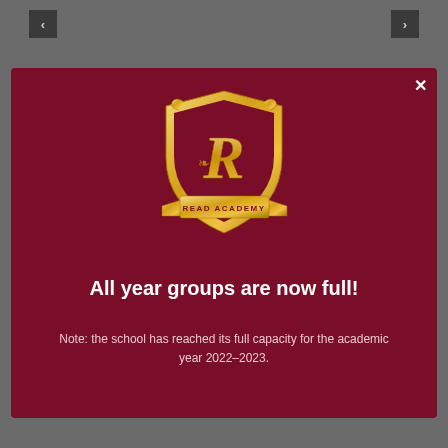[Figure (logo): Read Academy crest/shield logo in gold on dark red background]
All year groups are now full!
Note: the school has reached its full capacity for the academic year 2022–2023.